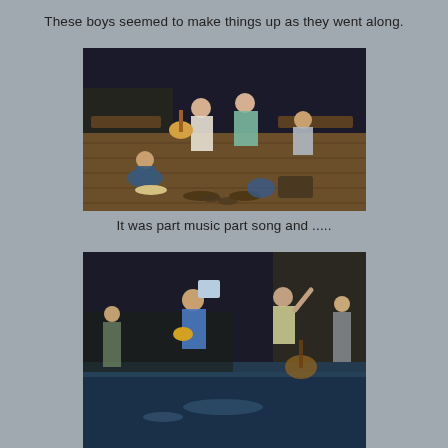These boys seemed to make things up as they went along.
[Figure (photo): Group of boys on a brick patio/plaza, one playing a guitar, others standing and sitting around, at night or dusk]
It was part music part song and .....
[Figure (photo): Boys performing outdoors at night, one holding up a paper/book, another with arms raised, near a pool or water feature]